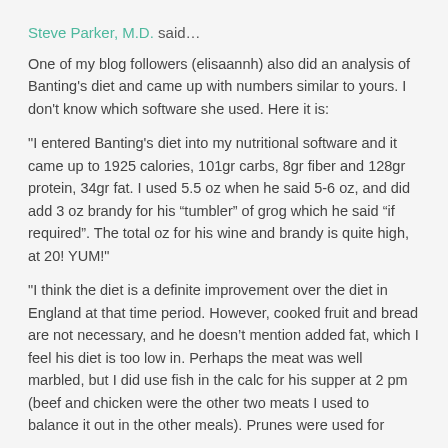Steve Parker, M.D. said…
One of my blog followers (elisaannh) also did an analysis of Banting's diet and came up with numbers similar to yours. I don't know which software she used. Here it is:
"I entered Banting's diet into my nutritional software and it came up to 1925 calories, 101gr carbs, 8gr fiber and 128gr protein, 34gr fat. I used 5.5 oz when he said 5-6 oz, and did add 3 oz brandy for his “tumbler” of grog which he said “if required”. The total oz for his wine and brandy is quite high, at 20! YUM!"
"I think the diet is a definite improvement over the diet in England at that time period. However, cooked fruit and bread are not necessary, and he doesn’t mention added fat, which I feel his diet is too low in. Perhaps the meat was well marbled, but I did use fish in the calc for his supper at 2 pm (beef and chicken were the other two meats I used to balance it out in the other meals). Prunes were used for